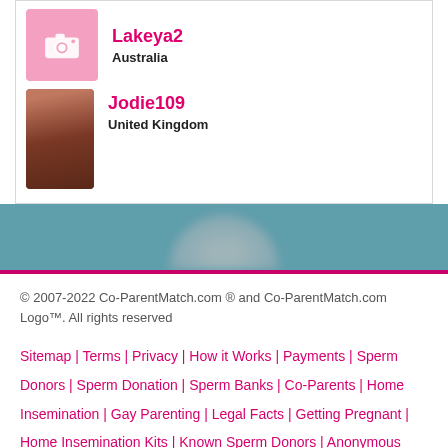[Figure (other): User profile avatar placeholder with pink camera icon for Lakeya2]
Lakeya2
Australia
[Figure (photo): Profile photo of Jodie109, a woman with dark hair]
Jodie109
United Kingdom
[Figure (photo): Blurred silhouette/head in teal background band]
© 2007-2022 Co-ParentMatch.com ® and Co-ParentMatch.com Logo™. All rights reserved
Sitemap | Terms | Privacy | How it Works | Payments | Sperm Donors | Sperm Donation | Sperm Banks | Co-Parents | Home Insemination | Gay Parenting | Legal Facts | Getting Pregnant | Home Insemination Kits | Known Sperm Donors | Anonymous Sperm Donors | Blog | Shop |